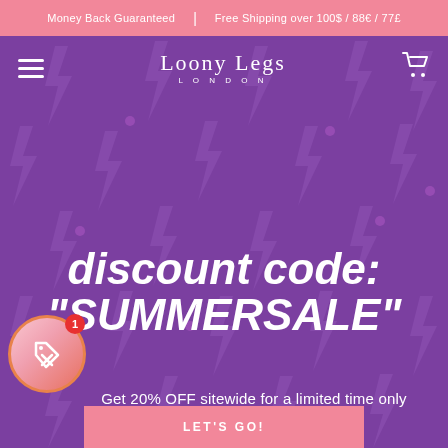Money Back Guaranteed | Free Shipping over 100$ / 88€ / 77£
[Figure (logo): Loony Legs London logo with hamburger menu and cart icon on purple lightning bolt background]
discount code: "SUMMERSALE"
Get 20% OFF sitewide for a limited time only
LET'S GO!